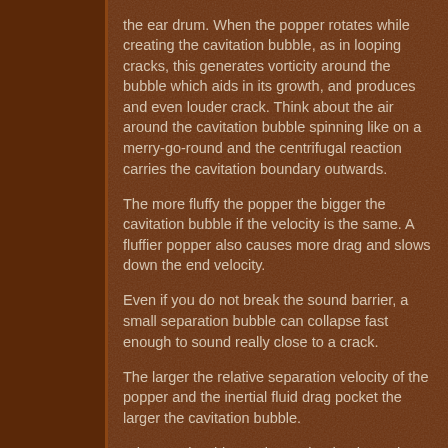the ear drum. When the popper rotates while creating the cavitation bubble, as in looping cracks, this generates vorticity around the bubble which aids in its growth, and produces and even louder crack. Think about the air around the cavitation bubble spinning like on a merry-go-round and the centrifugal reaction carries the cavitation boundary outwards.
The more fluffy the popper the bigger the cavitation bubble if the velocity is the same. A fluffier popper also causes more drag and slows down the end velocity.
Even if you do not break the sound barrier, a small separation bubble can collapse fast enough to sound really close to a crack.
The larger the relative separation velocity of the popper and the inertial fluid drag pocket the larger the cavitation bubble.
Why certain whip cracks are louder than others: As we all know, certain cracks are louder than